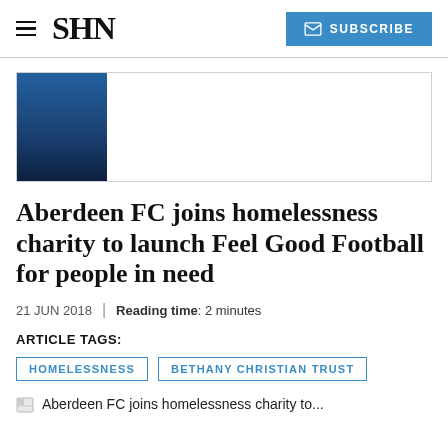SHN — SUBSCRIBE
[Figure (illustration): Advertisement banner with blue gradient rectangle on left and white space on right]
Aberdeen FC joins homelessness charity to launch Feel Good Football for people in need
21 JUN 2018  |  Reading time: 2 minutes
ARTICLE TAGS:
HOMELESSNESS   BETHANY CHRISTIAN TRUST
Aberdeen FC joins homelessness charity to...